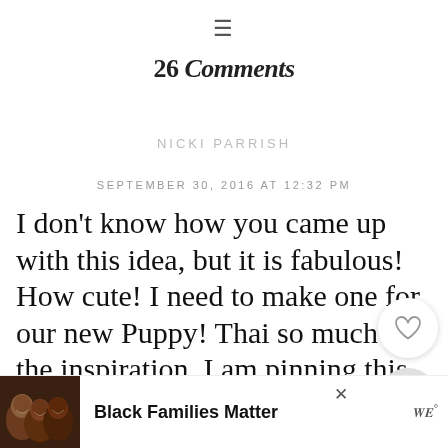≡
26 Comments
NICKI PARRISH
SEPTEMBER 30, 2016 AT 12:32 PM
I don't know how you came up with this idea, but it is fabulous! How cute! I need to make one for our new Puppy! Thank so much for the inspiration, I am pinning this to my Fall Decor board!
[Figure (other): Advertisement banner with photo of smiling people and text 'Black Families Matter' with logo]